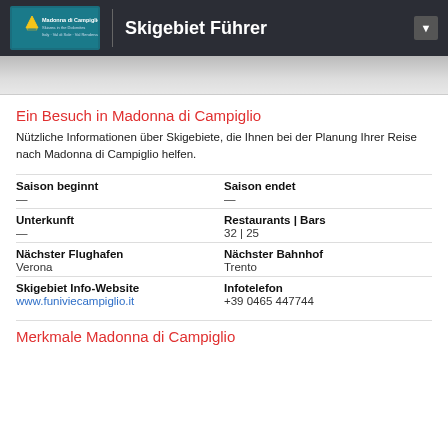Skigebiet Führer
[Figure (photo): Aerial or mountain landscape header image, light gray placeholder]
Ein Besuch in Madonna di Campiglio
Nützliche Informationen über Skigebiete, die Ihnen bei der Planung Ihrer Reise nach Madonna di Campiglio helfen.
| Label | Value |
| --- | --- |
| Saison beginnt | — |
| Saison endet | — |
| Unterkunft | — |
| Restaurants | Bars | 32 | 25 |
| Nächster Flughafen | Verona |
| Nächster Bahnhof | Trento |
| Skigebiet Info-Website | www.funiviecampiglio.it |
| Infotelefon | +39 0465 447744 |
Merkmale Madonna di Campiglio